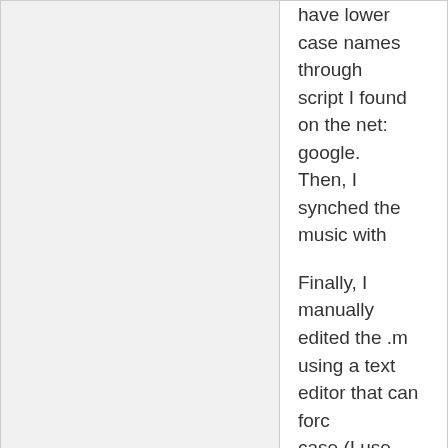have lower case names through script I found on the net: google. Then, I synched the music with
Finally, I manually edited the .m using a text editor that can forc case (I use Textpad, but lots of made the whole file contents lo working playlists!
Something of a palaver, and it w DoubleTwist did the right thing.
olorin
08/26/2010, 01:47 AM
[Figure (photo): Photo of a red circular no-entry road sign on a pole against a blue sky, with orange/yellow building facades visible in the background.]
Originally Posted by JOLIE
I downloaded Double Tw music into a music folder...